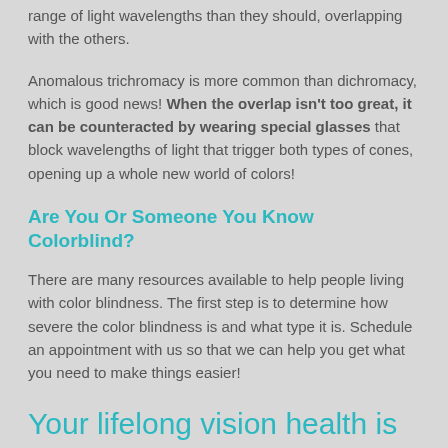range of light wavelengths than they should, overlapping with the others.
Anomalous trichromacy is more common than dichromacy, which is good news! When the overlap isn't too great, it can be counteracted by wearing special glasses that block wavelengths of light that trigger both types of cones, opening up a whole new world of colors!
Are You Or Someone You Know Colorblind?
There are many resources available to help people living with color blindness. The first step is to determine how severe the color blindness is and what type it is. Schedule an appointment with us so that we can help you get what you need to make things easier!
Your lifelong vision health is our top priority!
Top image used under CC0 Public Domain license